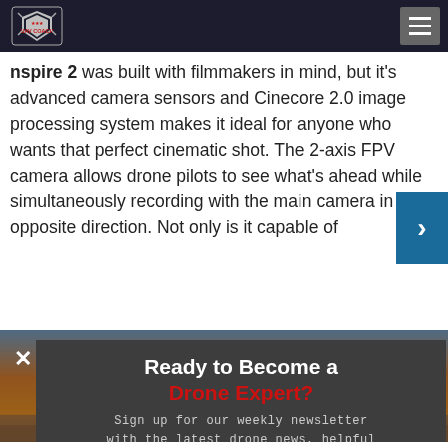UAV Coach
Inspire 2 was built with filmmakers in mind, but it's advanced camera sensors and Cinecore 2.0 image processing system makes it ideal for anyone who wants that perfect cinematic shot. The 2-axis FPV camera allows drone pilots to see what's ahead while simultaneously recording with the main camera in the opposite direction. Not only is it capable of
[Figure (photo): Drone flying over ocean at sunset with orange sky]
Ready to Become a Drone Expert?
Sign up for our weekly newsletter with the latest drone news, helpful guides, and engaging videos.
ENTER YOUR EMAIL
Join Community of 75,000+ Pilots
NO THANKS